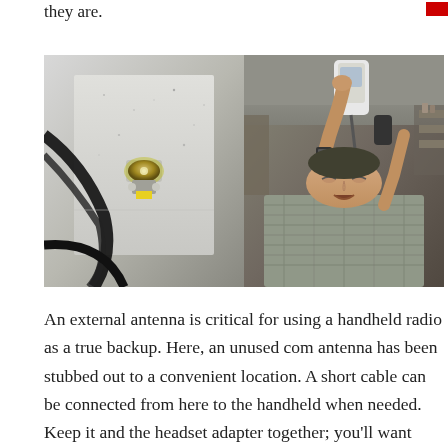they are.
[Figure (photo): Two side-by-side photos: left shows a BNC antenna connector stubbed out through an aircraft panel with cables visible; right shows a person lying on their back reaching up to connect something to an overhead panel in what appears to be an aircraft or workshop setting.]
An external antenna is critical for using a handheld radio as a true backup. Here, an unused com antenna has been stubbed out to a convenient location. A short cable can be connected from here to the handheld when needed. Keep it and the headset adapter together; you'll want both